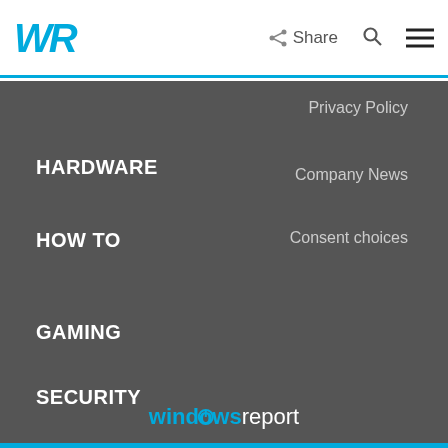WR | Share | Search | Menu
Privacy Policy
HARDWARE
Company News
HOW TO
Consent choices
GAMING
SECURITY
PRIVACY
windowsreport